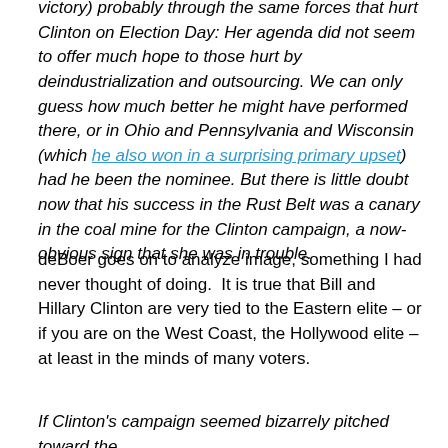victory) probably through the same forces that hurt Clinton on Election Day: Her agenda did not seem to offer much hope to those hurt by deindustrialization and outsourcing. We can only guess how much better he might have performed there, or in Ohio and Pennsylvania and Wisconsin (which he also won in a surprising primary upset) had he been the nominee. But there is little doubt now that his success in the Rust Belt was a canary in the coal mine for the Clinton campaign, a now-obvious sign that she was in trouble.
deBoer goes on to analyze image, something I had never thought of doing.  It is true that Bill and Hillary Clinton are very tied to the Eastern elite – or if you are on the West Coast, the Hollywood elite – at least in the minds of many voters.
If Clinton's campaign seemed bizarrely pitched toward the